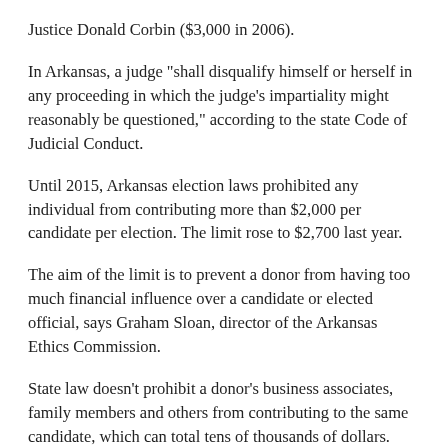Justice Donald Corbin ($3,000 in 2006).
In Arkansas, a judge "shall disqualify himself or herself in any proceeding in which the judge's impartiality might reasonably be questioned," according to the state Code of Judicial Conduct.
Until 2015, Arkansas election laws prohibited any individual from contributing more than $2,000 per candidate per election. The limit rose to $2,700 last year.
The aim of the limit is to prevent a donor from having too much financial influence over a candidate or elected official, says Graham Sloan, director of the Arkansas Ethics Commission.
State law doesn't prohibit a donor's business associates, family members and others from contributing to the same candidate, which can total tens of thousands of dollars.